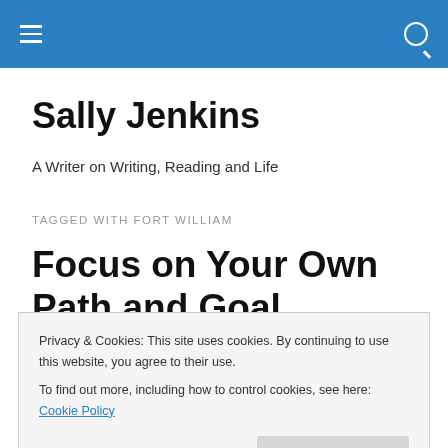Sally Jenkins
A Writer on Writing, Reading and Life
TAGGED WITH FORT WILLIAM
Focus on Your Own Path and Goal
Privacy & Cookies: This site uses cookies. By continuing to use this website, you agree to their use.
To find out more, including how to control cookies, see here: Cookie Policy
on a blazing hot day. All along the route the scenery was